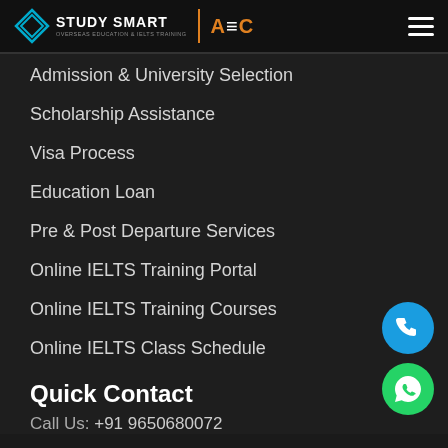Study Smart | AEC — Overseas Education & IELTS Training
Admission & University Selection
Scholarship Assistance
Visa Process
Education Loan
Pre & Post Departure Services
Online IELTS Training Portal
Online IELTS Training Courses
Online IELTS Class Schedule
Quick Contact
Call Us: +91 9650680072